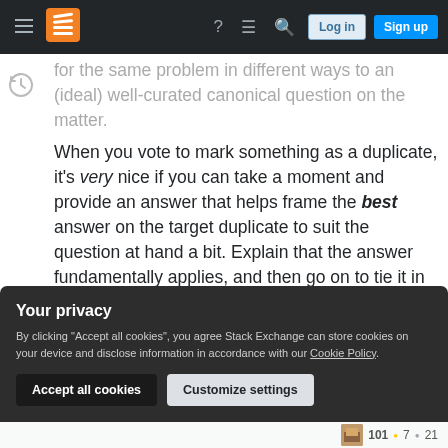Stack Exchange navigation bar with hamburger menu, logo, help, chat, search, Log in, Sign up buttons
for the same problem in different ways to an (ideal) well-curated canonical question on the matter.
When you vote to mark something as a duplicate, it's very nice if you can take a moment and provide an answer that helps frame the best answer on the target duplicate to suit the question at hand a bit. Explain that the answer fundamentally applies, and then go on to tie it in with whatever specifics the person has provided. This helps make these 'stubs' much more valuable and informative to the people that happen upon them.
Your privacy
By clicking "Accept all cookies", you agree Stack Exchange can store cookies on your device and disclose information in accordance with our Cookie Policy.
Accept all cookies   Customize settings
101 • 7 • 21